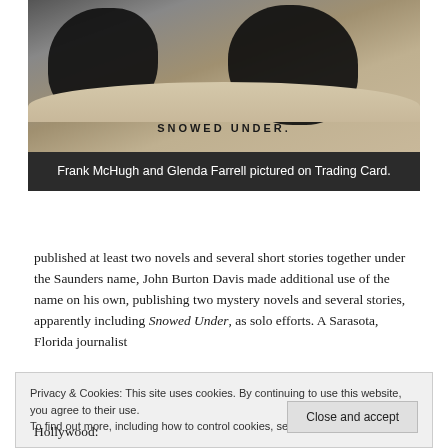[Figure (photo): Black and white vintage trading card showing two dark silhouettes against a snowy background, with the text 'SNOWED UNDER.' printed at the bottom.]
Frank McHugh and Glenda Farrell pictured on Trading Card.
published at least two novels and several short stories together under the Saunders name, John Burton Davis made additional use of the name on his own, publishing two mystery novels and several stories, apparently including Snowed Under, as solo efforts. A Sarasota, Florida journalist
Privacy & Cookies: This site uses cookies. By continuing to use this website, you agree to their use.
To find out more, including how to control cookies, see here: Privacy Policy
Close and accept
Hollywood: